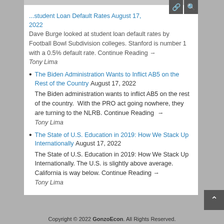Dave Burge looked at student loan default rates by Football Bowl Subdivision colleges. Stanford is number 1 with a 0.5% default rate. Continue Reading →
Tony Lima
The Biden Administration Wants to Inflict AB5 on the Rest of the Country August 17, 2022 — The Biden administration wants to inflict AB5 on the rest of the country. With the PRO act going nowhere, they are turning to the NLRB. Continue Reading → Tony Lima
The State of U.S. Education in 2019: How We Stack Up Internationally August 17, 2022 — The State of U.S. Education in 2019: How We Stack Up Internationally. The U.S. is slightly above average. California is way below. Continue Reading → Tony Lima
Copyright © 2022 GonzoEcon. All Rights Reserved.